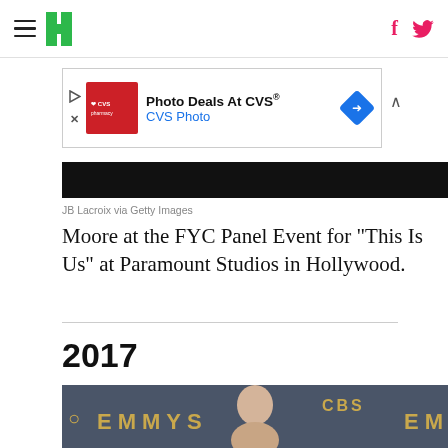HuffPost navigation with hamburger menu, logo, Facebook and Twitter icons
[Figure (other): CVS Photo Deals advertisement banner]
[Figure (photo): Dark/black strip — partial photo top]
JB Lacroix via Getty Images
Moore at the FYC Panel Event for "This Is Us" at Paramount Studios in Hollywood.
2017
[Figure (photo): Photo of a woman at the Emmys 2017 red carpet, dark blue EMMYS CBS backdrop visible]